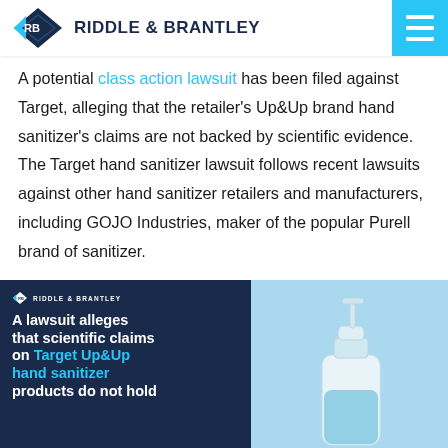RIDDLE & BRANTLEY
A potential class action lawsuit has been filed against Target, alleging that the retailer's Up&Up brand hand sanitizer's claims are not backed by scientific evidence. The Target hand sanitizer lawsuit follows recent lawsuits against other hand sanitizer retailers and manufacturers, including GOJO Industries, maker of the popular Purell brand of sanitizer.
[Figure (infographic): Dark navy infographic panel with Riddle & Brantley logo at top left and bold white/cyan text reading 'A lawsuit alleges that scientific claims on Target Up&Up hand sanitizer products do not hold', paired with a light blue background photo of a hand sanitizer pump bottle]